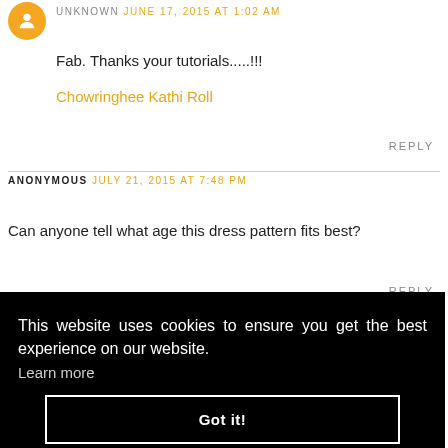UNKNOWN JUNE 17, 2015 AT 1:02 AM
Fab. Thanks your tutorials.....!!!
Chowringhee Kathi Roll
REPLY
ANONYMOUS JULY 21, 2015 AT 7:48 PM
Can anyone tell what age this dress pattern fits best?
REPLY
This website uses cookies to ensure you get the best experience on our website. Learn more
Got it!
SWAGGY DECEMBER 7, 2015 AT 11:26 PM